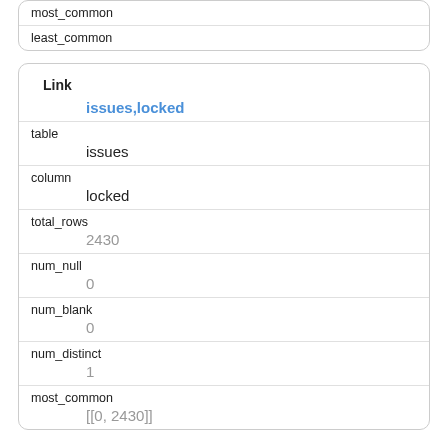| most_common |  |
| least_common |  |
| Link | issues,locked |
| table | issues |
| column | locked |
| total_rows | 2430 |
| num_null | 0 |
| num_blank | 0 |
| num_distinct | 1 |
| most_common | [[0, 2430]] |